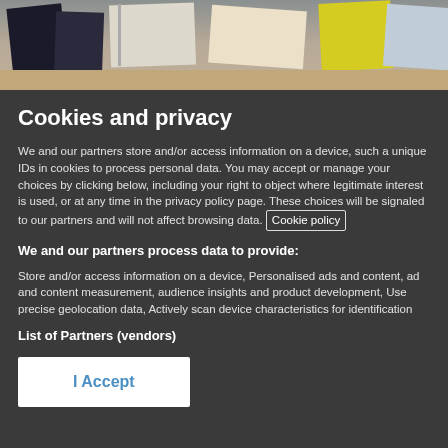[Figure (photo): Photo banner showing books and documents scattered on a desk surface]
Cookies and privacy
We and our partners store and/or access information on a device, such as unique IDs in cookies to process personal data. You may accept or manage your choices by clicking below, including your right to object where legitimate interest is used, or at any time in the privacy policy page. These choices will be signaled to our partners and will not affect browsing data. Cookie policy
We and our partners process data to provide:
Store and/or access information on a device, Personalised ads and content, ad and content measurement, audience insights and product development, Use precise geolocation data, Actively scan device characteristics for identification
List of Partners (vendors)
I Accept